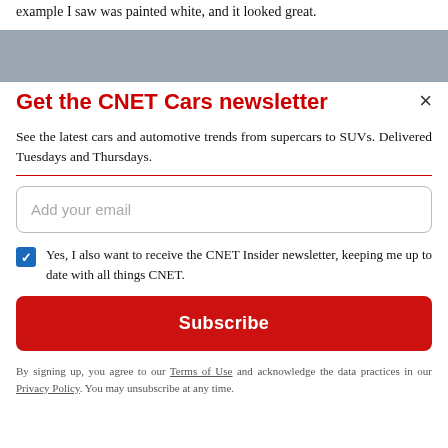example I saw was painted white, and it looked great.
[Figure (photo): Grey/blue toned photograph partial view at top of page]
Get the CNET Cars newsletter
See the latest cars and automotive trends from supercars to SUVs. Delivered Tuesdays and Thursdays.
Add your email
Yes, I also want to receive the CNET Insider newsletter, keeping me up to date with all things CNET.
Subscribe
By signing up, you agree to our Terms of Use and acknowledge the data practices in our Privacy Policy. You may unsubscribe at any time.